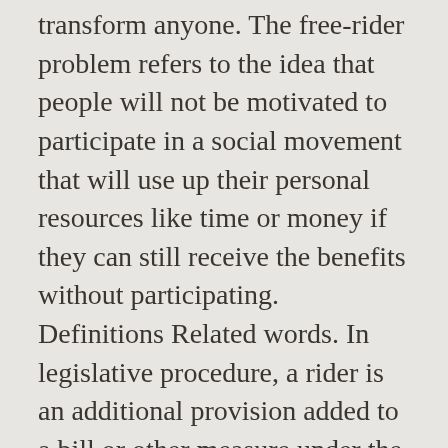transform anyone. The free-rider problem refers to the idea that people will not be motivated to participate in a social movement that will use up their personal resources like time or money if they can still receive the benefits without participating. Definitions Related words. In legislative procedure, a rider is an additional provision added to a bill or other measure under the consideration by a legislature, having little connection with the subject matter of the bill.. Building on GSZ's (2006) definition of culture, we define social capital as those persistent and shared beliefs and values that help a group overcome the free rider problem in the pursuit of socially